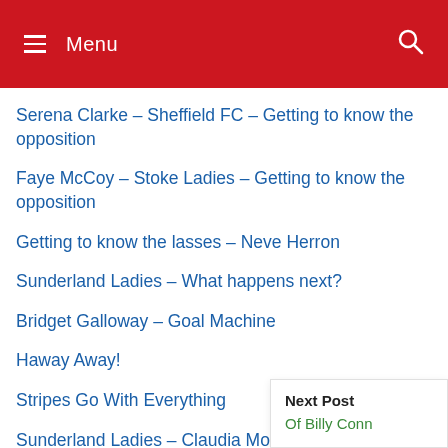Menu
Serena Clarke – Sheffield FC – Getting to know the opposition
Faye McCoy – Stoke Ladies – Getting to know the opposition
Getting to know the lasses – Neve Herron
Sunderland Ladies – What happens next?
Bridget Galloway – Goal Machine
Haway Away!
Stripes Go With Everything
Sunderland Ladies – Claudia Moan Number One
SAFC Ladies – Well worth a trip to s
Next Post
Of Billy Conn